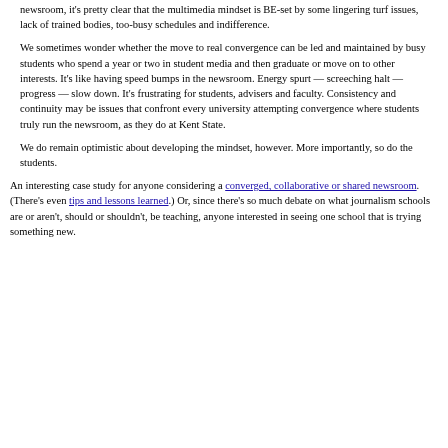newsroom, it's pretty clear that the multimedia mindset is BE-set by some lingering turf issues, lack of trained bodies, too-busy schedules and indifference.
We sometimes wonder whether the move to real convergence can be led and maintained by busy students who spend a year or two in student media and then graduate or move on to other interests. It's like having speed bumps in the newsroom. Energy spurt — screeching halt — progress — slow down. It's frustrating for students, advisers and faculty. Consistency and continuity may be issues that confront every university attempting convergence where students truly run the newsroom, as they do at Kent State.
We do remain optimistic about developing the mindset, however. More importantly, so do the students.
An interesting case study for anyone considering a converged, collaborative or shared newsroom. (There's even tips and lessons learned.) Or, since there's so much debate on what journalism schools are or aren't, should or shouldn't, be teaching, anyone interested in seeing one school that is trying something new.